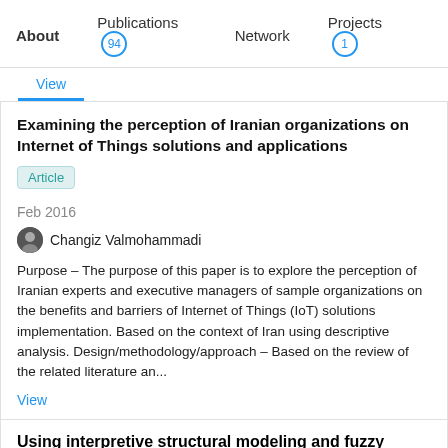About  Publications 94  Network  Projects 1
View
Examining the perception of Iranian organizations on Internet of Things solutions and applications
Article
Feb 2016
Changiz Valmohammadi
Purpose – The purpose of this paper is to explore the perception of Iranian experts and executive managers of sample organizations on the benefits and barriers of Internet of Things (IoT) solutions implementation. Based on the context of Iran using descriptive analysis. Design/methodology/approach – Based on the review of the related literature an...
View
Using interpretive structural modeling and fuzzy analytical process to identify and prioritize the interactive barriers of e-commerce implementation